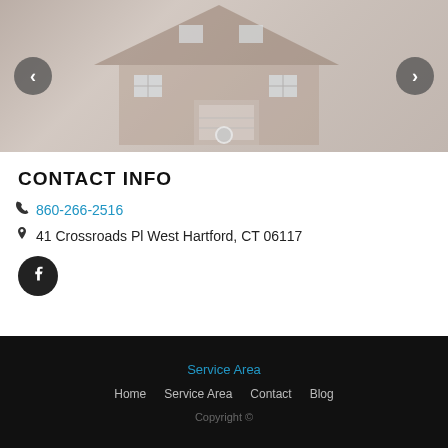[Figure (photo): Image slider showing a house exterior with a left navigation arrow button, a right navigation arrow button, and a dot indicator at the bottom center.]
CONTACT INFO
860-266-2516
41 Crossroads Pl West Hartford, CT 06117
[Figure (logo): Facebook icon button — circular dark button with white Facebook 'f' logo.]
Service Area
Home  Service Area  Contact  Blog
Copyright ©